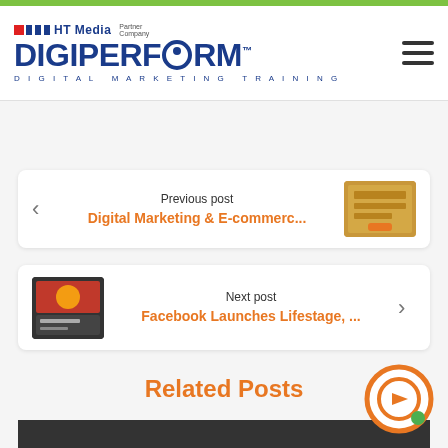[Figure (logo): DigiPerform logo with HT Media Partner Company branding and DIGITAL MARKETING TRAINING tagline]
Previous post
Digital Marketing & E-commerc...
Next post
Facebook Launches Lifestage, ...
Related Posts
[Figure (photo): Partial dark image at bottom representing a related post thumbnail]